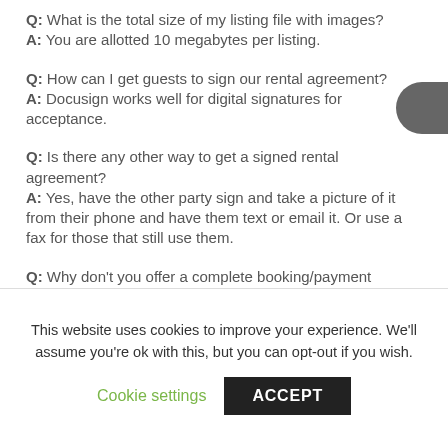Q: What is the total size of my listing file with images?
A: You are allotted 10 megabytes per listing.
Q: How can I get guests to sign our rental agreement?
A: Docusign works well for digital signatures for acceptance.
Q: Is there any other way to get a signed rental agreement?
A: Yes, have the other party sign and take a picture of it from their phone and have them text or email it. Or use a fax for those that still use them.
Q: Why don’t you offer a complete booking/payment system.
A: So the traveler and owner connects to make meaningful contact and clarify details
This website uses cookies to improve your experience. We’ll assume you’re ok with this, but you can opt-out if you wish.
Cookie settings  ACCEPT